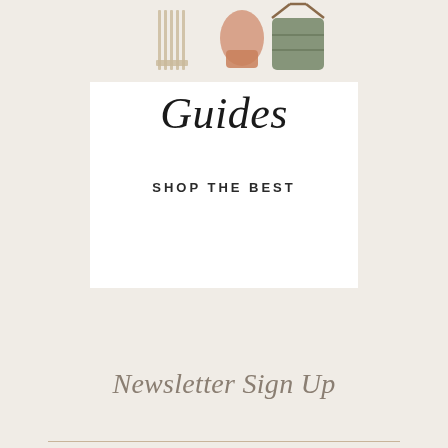[Figure (illustration): Partial view of a shopping guide card with decorative items (comb, gloves, bag) at the top, italic text 'Guides' and bold uppercase 'SHOP THE BEST' below, set on a white card against a beige background]
Guides
SHOP THE BEST
Newsletter Sign Up